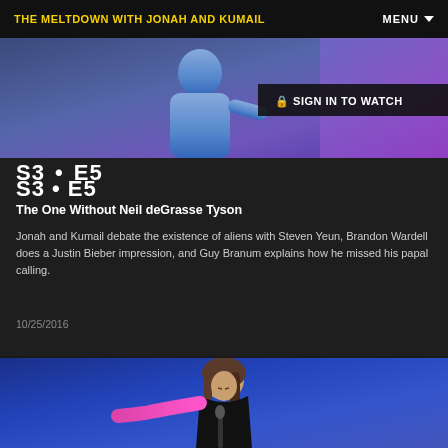THE MELTDOWN WITH JONAH AND KUMAIL | MENU
[Figure (screenshot): Partial thumbnail image of TV show episode showing a person in a blue shirt against a colorful background, with a 'Sign In to Watch' badge in the upper right]
S3 • E5
The One Without Neil deGrasse Tyson
Jonah and Kumail debate the existence of aliens with Steven Yeun, Brandon Wardell does a Justin Bieber impression, and Guy Branum explains how he missed his papal calling.
10/25/2016
[Figure (photo): A female performer on stage holding a microphone, wearing a black sleeveless top, with her arm outstretched, illuminated by purple/blue stage lighting against a blue background]